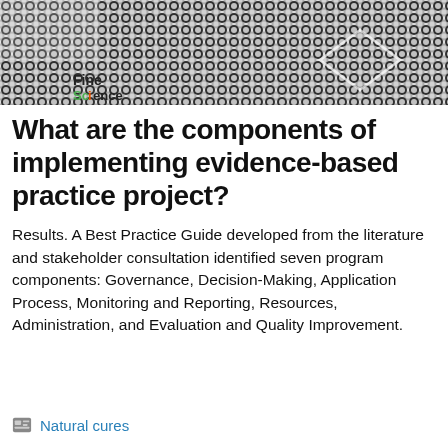[Figure (photo): Black and white abstract pattern image with circular/hexagonal dots, with a colorful logo overlay reading 'Fine Science' in the lower-left corner]
What are the components of implementing evidence-based practice project?
Results. A Best Practice Guide developed from the literature and stakeholder consultation identified seven program components: Governance, Decision-Making, Application Process, Monitoring and Reporting, Resources, Administration, and Evaluation and Quality Improvement.
Natural cures